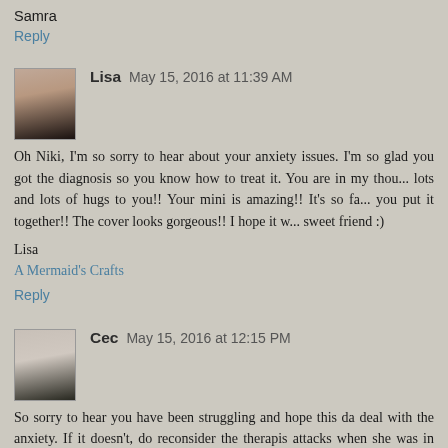Samra
Reply
Lisa  May 15, 2016 at 11:39 AM
Oh Niki, I'm so sorry to hear about your anxiety issues. I'm so glad you got the diagnosis so you know how to treat it. You are in my thoughts and sending lots and lots of hugs to you!! Your mini is amazing!! It's so fantastic how you put it together!! The cover looks gorgeous!! I hope it works for you sweet friend :)
Lisa
A Mermaid's Crafts
Reply
Cec  May 15, 2016 at 12:15 PM
So sorry to hear you have been struggling and hope this da deal with the anxiety. If it doesn't, do reconsider the therapist attacks when she was in university but she had already student counseling office as a safe place to fall so she marche she felt she needed really good support from it didn't...